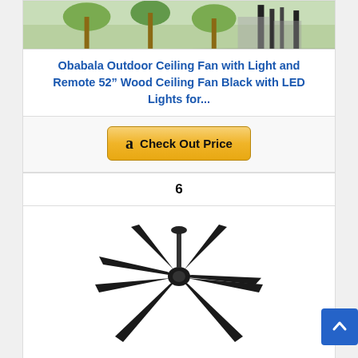[Figure (photo): Product image of Obabala outdoor ceiling fan with palms/outdoor scene and dark fan poles]
Obabala Outdoor Ceiling Fan with Light and Remote 52” Wood Ceiling Fan Black with LED Lights for...
[Figure (other): Amazon 'Check Out Price' button with Amazon logo]
6
[Figure (photo): Black ceiling fan with multiple blades spreading outward, viewed from below at slight angle]